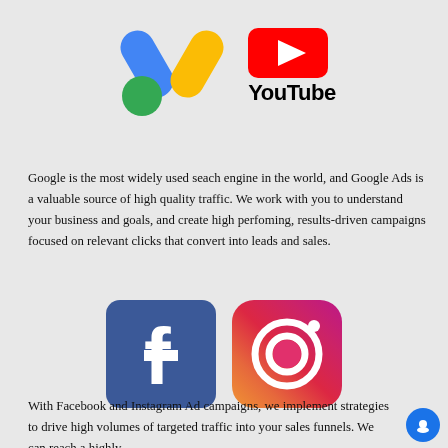[Figure (logo): Google Ads logo (blue and yellow A shape with green circle) and YouTube logo (red rectangle with white play button) with YouTube wordmark in black]
Google is the most widely used seach engine in the world, and Google Ads is a valuable source of high quality traffic. We work with you to understand your business and goals, and create high perfoming, results-driven campaigns focused on relevant clicks that convert into leads and sales.
[Figure (logo): Facebook logo (blue rounded square with white lowercase f) and Instagram logo (rounded square with gradient from purple to orange with camera icon)]
With Facebook and Instagram Ad campaigns, we implement strategies to drive high volumes of targeted traffic into your sales funnels. We can reach a highly